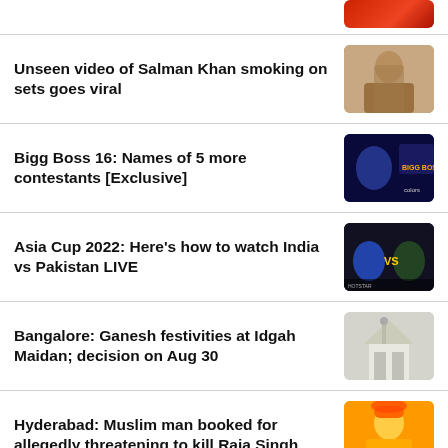[Figure (photo): Partial thumbnail at top - red/dark tones]
Unseen video of Salman Khan smoking on sets goes viral
[Figure (photo): Salman Khan photo - brownish tones]
Bigg Boss 16: Names of 5 more contestants [Exclusive]
[Figure (photo): Bigg Boss 16 promotional image with Colors logo]
Asia Cup 2022: Here's how to watch India vs Pakistan LIVE
[Figure (photo): India vs Pakistan cricket match promotional image]
Bangalore: Ganesh festivities at Idgah Maidan; decision on Aug 30
[Figure (photo): Idgah Maidan mosque building photo]
Hyderabad: Muslim man booked for allegedly threatening to kill Raja Singh
[Figure (photo): Man in orange/yellow attire photo]
[Figure (photo): Partial thumbnail at bottom]